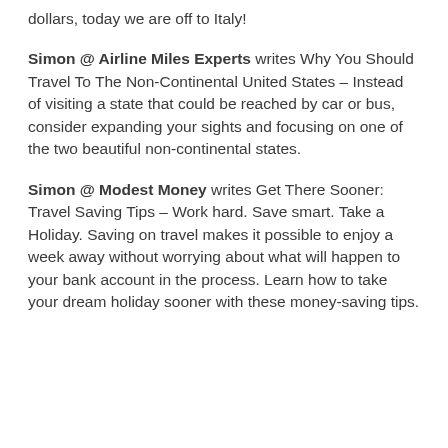dollars, today we are off to Italy!
Simon @ Airline Miles Experts writes Why You Should Travel To The Non-Continental United States – Instead of visiting a state that could be reached by car or bus, consider expanding your sights and focusing on one of the two beautiful non-continental states.
Simon @ Modest Money writes Get There Sooner: Travel Saving Tips – Work hard. Save smart. Take a Holiday. Saving on travel makes it possible to enjoy a week away without worrying about what will happen to your bank account in the process. Learn how to take your dream holiday sooner with these money-saving tips.